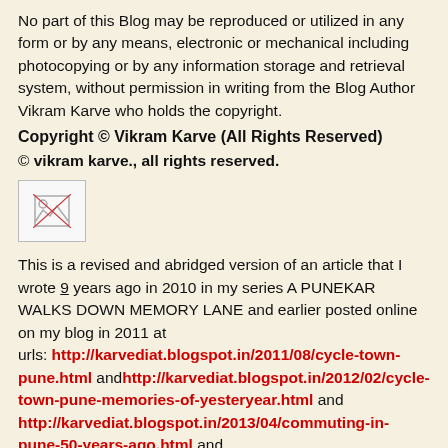No part of this Blog may be reproduced or utilized in any form or by any means, electronic or mechanical including photocopying or by any information storage and retrieval system, without permission in writing from the Blog Author Vikram Karve who holds the copyright.
Copyright © Vikram Karve (All Rights Reserved)
© vikram karve., all rights reserved.
[Figure (illustration): Small broken image placeholder icon]
This is a revised and abridged version of an article that I wrote 9 years ago in 2010 in my series A PUNEKAR WALKS DOWN MEMORY LANE and earlier posted online on my blog in 2011 at urls: http://karvediat.blogspot.in/2011/08/cycle-town-pune.html and http://karvediat.blogspot.in/2012/02/cycle-town-pune-memories-of-yesteryear.html and http://karvediat.blogspot.in/2013/04/commuting-in-pune-50-years-ago.html and http://karvediat.blogspot.in/2015/10/cycle-